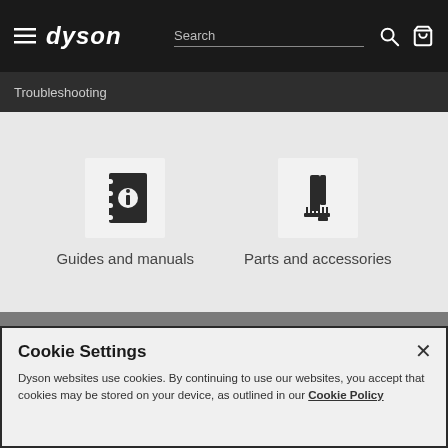dyson — Search
Troubleshooting
[Figure (illustration): Icon of a notebook/manual with an 'i' information symbol]
Guides and manuals
[Figure (illustration): Icon of a comb/hair attachment accessory tool]
Parts and accessories
Cookie Settings
Dyson websites use cookies. By continuing to use our websites, you accept that cookies may be stored on your device, as outlined in our Cookie Policy